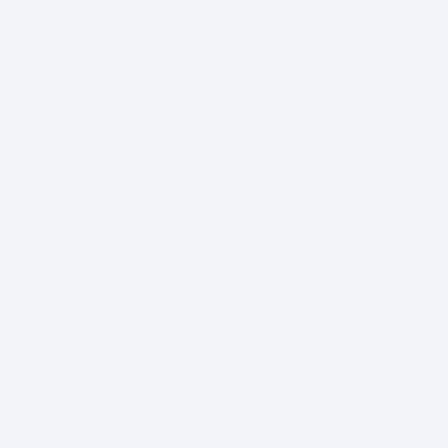[Figure (screenshot): Advertisement banner for Lidl store in Ashburn. Shows Lidl logo, store name 'Ashburn', status 'OPEN', hours '8AM-9PM', address '44175 Ashbrook Marketp...', and a blue navigation/directions arrow icon. Below the ad are play and close control icons.]